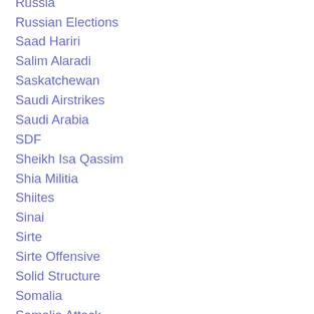Russia
Russian Elections
Saad Hariri
Salim Alaradi
Saskatchewan
Saudi Airstrikes
Saudi Arabia
SDF
Sheikh Isa Qassim
Shia Militia
Shiites
Sinai
Sirte
Sirte Offensive
Solid Structure
Somalia
Somalia Attack
Southern Manitoba